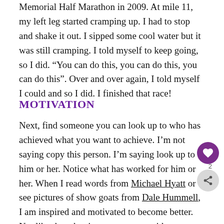Memorial Half Marathon in 2009. At mile 11, my left leg started cramping up. I had to stop and shake it out. I sipped some cool water but it was still cramping. I told myself to keep going, so I did. “You can do this, you can do this, you can do this”. Over and over again, I told myself I could and so I did. I finished that race!
MOTIVATION
Next, find someone you can look up to who has achieved what you want to achieve. I’m not saying copy this person. I’m saying look up to him or her. Notice what has worked for him or her. When I read words from Michael Hyatt or see pictures of show goats from Dale Hummell, I am inspired and motivated to become better. Not like them but in my own way with my own...